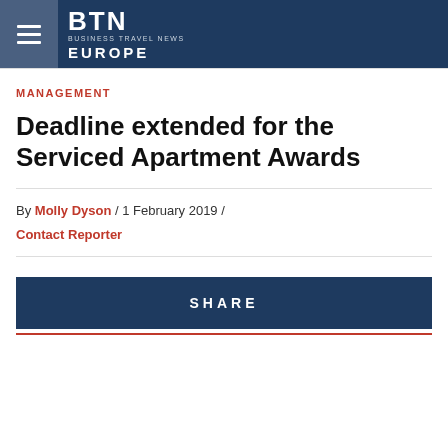BTN BUSINESS TRAVEL NEWS EUROPE
MANAGEMENT
Deadline extended for the Serviced Apartment Awards
By Molly Dyson / 1 February 2019 /
Contact Reporter
SHARE